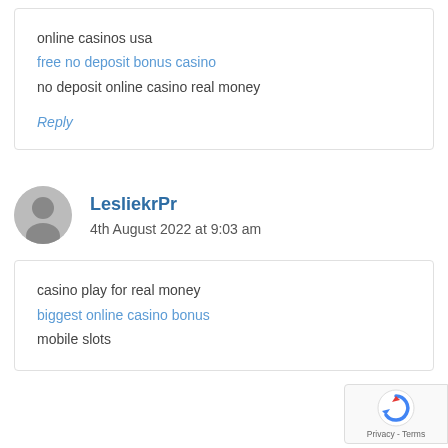online casinos usa
free no deposit bonus casino
no deposit online casino real money
Reply
LesliekrPr
4th August 2022 at 9:03 am
casino play for real money
biggest online casino bonus
mobile slots